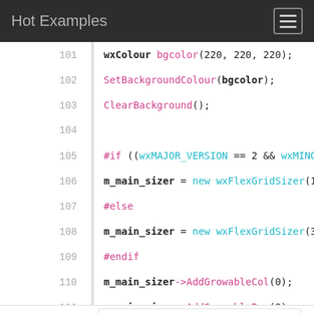Hot Examples
[Figure (screenshot): Code viewer showing C++ source code lines 101–114 with syntax highlighting. Line 101: wxColour bgcolor(220, 220, 220); Line 102: SetBackgroundColour(bgcolor); Line 103: ClearBackground(); Line 104: (empty) Line 105: #if ((wxMAJOR_VERSION == 2 && wxMINOR_VERSI… Line 106: m_main_sizer = new wxFlexGridSizer(1,0,… Line 107: #else Line 108: m_main_sizer = new wxFlexGridSizer(3,1,… Line 109: #endif Line 110: m_main_sizer->AddGrowableCol(0); Line 111: m_main_sizer->AddGrowableRow(0); Line 112: m_main_sizer->AddGrowableRow(1); Line 113: m_main_sizer->AddGrowableRow(2); Line 114: (empty)]
[Figure (screenshot): Advertisement box showing Lidl store in Ashburn, OPEN 8AM-9PM, address 44175 Ashbrook Marketplace Plaza, with navigation icon]